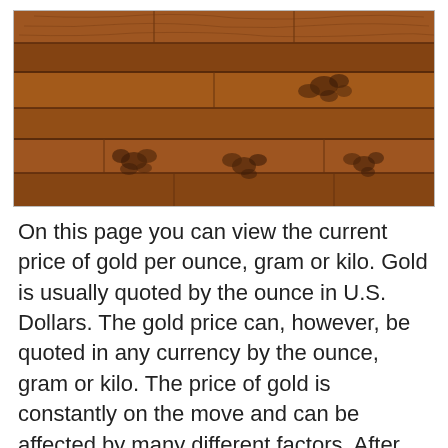[Figure (photo): Photograph of wooden planks with a warm brown/orange tone, showing wood grain texture and some dark knot/floral patterns on the boards.]
On this page you can view the current price of gold per ounce, gram or kilo. Gold is usually quoted by the ounce in U.S. Dollars. The gold price can, however, be quoted in any currency by the ounce, gram or kilo. The price of gold is constantly on the move and can be affected by many different factors. After the price of gold passed the mark of 1,000 US dollars per ounce for the first time in March 2008, by the end of 2011 it had already reached 1,600 US dollars per ounce. 2020-08-12 - Find the latest...